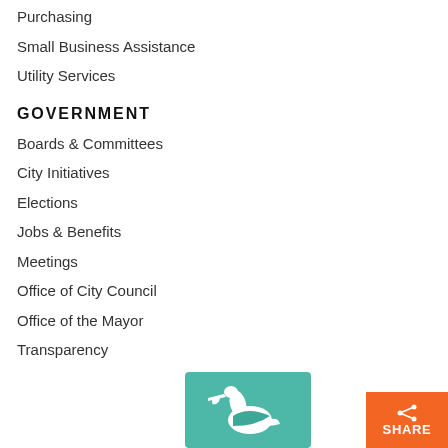Purchasing
Small Business Assistance
Utility Services
GOVERNMENT
Boards & Committees
City Initiatives
Elections
Jobs & Benefits
Meetings
Office of City Council
Office of the Mayor
Transparency
[Figure (logo): Teal square with white pelican silhouette logo]
[Figure (other): Orange share button with share icon and SHARE text]